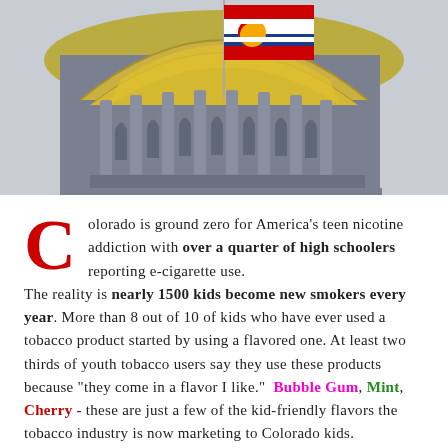[Figure (photo): Photograph of the Colorado State Capitol dome with a Colorado state flag flying in front against a grey sky. The dome features gold details and classical architecture with arched windows and columns.]
Colorado is ground zero for America's teen nicotine addiction with over a quarter of high schoolers reporting e-cigarette use. The reality is nearly 1500 kids become new smokers every year. More than 8 out of 10 of kids who have ever used a tobacco product started by using a flavored one. At least two thirds of youth tobacco users say they use these products because "they come in a flavor I like." Bubble Gum, Mint, Cherry - these are just a few of the kid-friendly flavors the tobacco industry is now marketing to Colorado kids.
The cities of Denver and Loveland will be considering